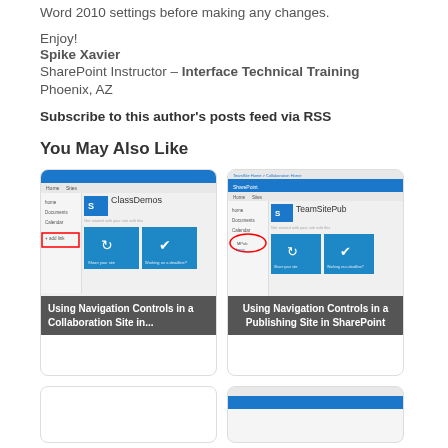Word 2010 settings before making any changes.
Enjoy!
Spike Xavier
SharePoint Instructor – Interface Technical Training
Phoenix, AZ
Subscribe to this author's posts feed via RSS
You May Also Like
[Figure (screenshot): SharePoint ClassDemos site screenshot with caption: Using Navigation Controls in a Collaboration Site in...]
[Figure (screenshot): SharePoint TeamSitePub site screenshot with caption: Using Navigation Controls in a Publishing Site in SharePoint]
[Figure (screenshot): Partial card at bottom left, content not visible]
[Figure (screenshot): Partial card at bottom right, content not visible]